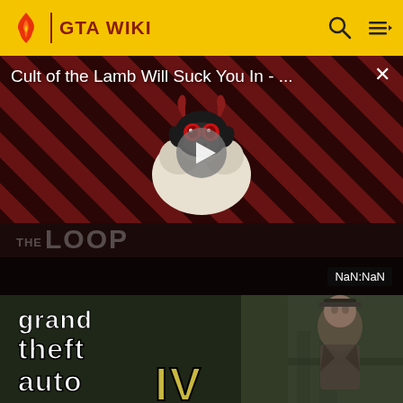GTA WIKI
[Figure (screenshot): Video player showing 'Cult of the Lamb Will Suck You In - ...' with diagonal red and dark stripe background, a cartoon lamb devil character in center, play button overlay, THE LOOP logo at bottom left, close X button top right, NaN:NaN timestamp bottom right]
[Figure (screenshot): GTA IV game screenshot showing Grand Theft Auto IV logo on left and a character (Niko Bellic) on right side against urban background]